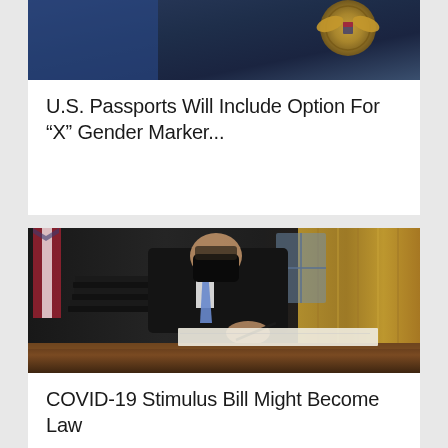[Figure (photo): Partial top image showing what appears to be a U.S. government official or seal with blue and gold elements visible]
U.S. Passports Will Include Option For “X” Gender Marker...
[Figure (photo): Person wearing a black face mask and dark suit signing documents at an oval office desk, with stacked black folders and golden curtains visible in background]
COVID-19 Stimulus Bill Might Become Law